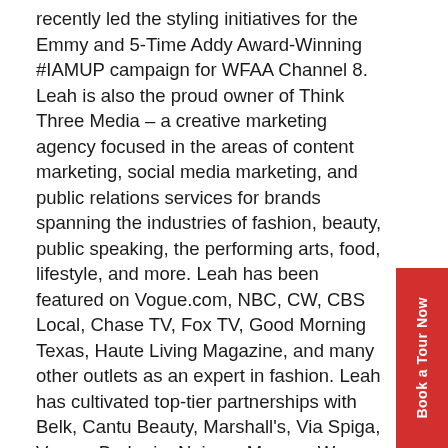recently led the styling initiatives for the Emmy and 5-Time Addy Award-Winning #IAMUP campaign for WFAA Channel 8. Leah is also the proud owner of Think Three Media – a creative marketing agency focused in the areas of content marketing, social media marketing, and public relations services for brands spanning the industries of fashion, beauty, public speaking, the performing arts, food, lifestyle, and more. Leah has been featured on Vogue.com, NBC, CW, CBS Local, Chase TV, Fox TV, Good Morning Texas, Haute Living Magazine, and many other outlets as an expert in fashion. Leah has cultivated top-tier partnerships with Belk, Cantu Beauty, Marshall's, Via Spiga, Vogue, Brahmin, Neiman Marcus, Warner Bros, Shoedazzle, Yosi Samra Shoes, and more. Leah has authored her first book, The Success Factor, which reached #1 as a Best Seller for Women and Business reads, and was also awarded an African-American Literary Award for 2018. Lunch Provided for Confirmed